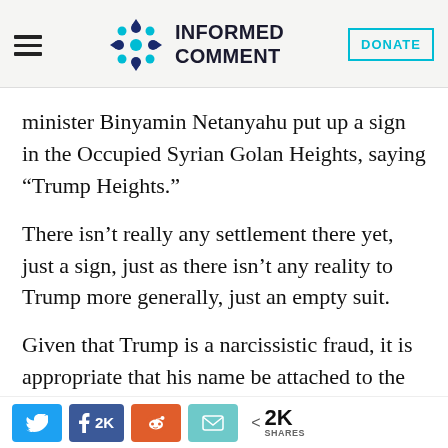Informed Comment [with logo and DONATE button]
minister Binyamin Netanyahu put up a sign in the Occupied Syrian Golan Heights, saying “Trump Heights.”
There isn’t really any settlement there yet, just a sign, just as there isn’t any reality to Trump more generally, just an empty suit.
Given that Trump is a narcissistic fraud, it is appropriate that his name be attached to the illegal Israeli theft of Syrian territory. In
Social share buttons: Twitter, Facebook 2K, Reddit, Email | 2K SHARES